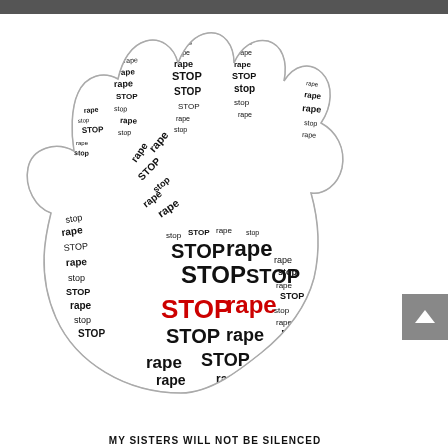[Figure (illustration): A word cloud in the shape of an open hand/palm. The words 'STOP' and 'rape' are repeated in various sizes, orientations, and weights throughout the hand silhouette. The largest words 'STOP' and 'rape' appear in red in the center-lower palm area, with surrounding text in black in various sizes.]
MY SISTERS WILL NOT BE SILENCED